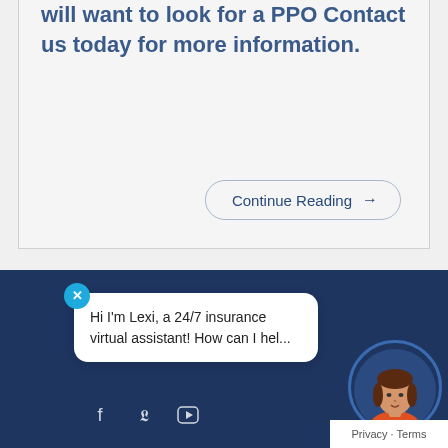will want to look for a PPO Contact us today for more information.
Continue Reading →
© [year] All Rights Reserved. [Company] Be Bold
Hi I'm Lexi, a 24/7 insurance virtual assistant! How can I hel...
[Figure (illustration): Chat bot avatar of a woman named Lexi with brown hair]
[Figure (illustration): Social media icons: Facebook, Twitter, YouTube/LinkedIn]
Privacy · Terms